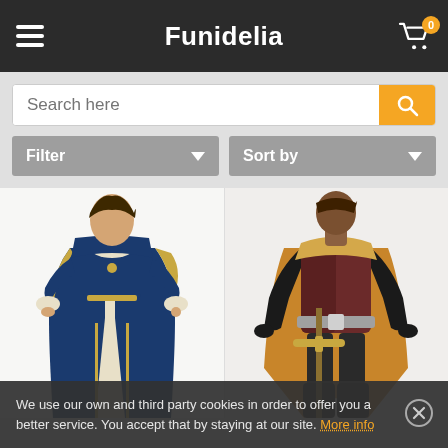Funidelia
Search here
Filter
Sort by
[Figure (photo): Two medieval/fantasy costumes displayed on models: left is a woman in a blue and white medieval princess gown; right is a figure in brown/maroon knight armor with a tan cape, black gloves, and a prop sword.]
We use our own and third party cookies in order to offer you a better service. You accept that by staying at our site. More info